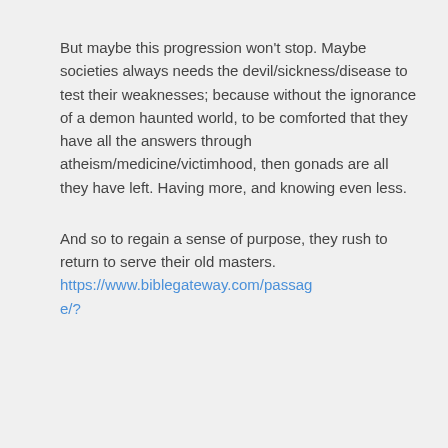But maybe this progression won't stop. Maybe societies always needs the devil/sickness/disease to test their weaknesses; because without the ignorance of a demon haunted world, to be comforted that they have all the answers through atheism/medicine/victimhood, then gonads are all they have left. Having more, and knowing even less.
And so to regain a sense of purpose, they rush to return to serve their old masters. https://www.biblegateway.com/passage/?